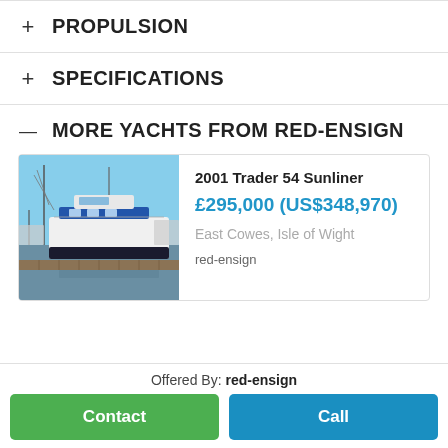+ PROPULSION
+ SPECIFICATIONS
— MORE YACHTS FROM RED-ENSIGN
[Figure (photo): Photo of a white motor yacht docked at a marina with masts of sailboats in the background]
2001 Trader 54 Sunliner
£295,000 (US$348,970)
East Cowes, Isle of Wight
red-ensign
Offered By: red-ensign
Contact
Call